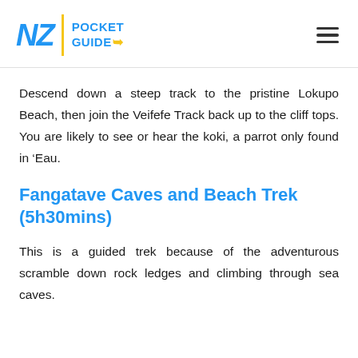NZ POCKET GUIDE
Descend down a steep track to the pristine Lokupo Beach, then join the Veifefe Track back up to the cliff tops. You are likely to see or hear the koki, a parrot only found in ‘Eau.
Fangatave Caves and Beach Trek (5h30mins)
This is a guided trek because of the adventurous scramble down rock ledges and climbing through sea caves.